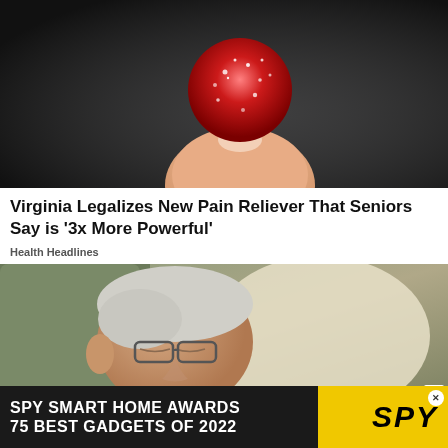[Figure (photo): Close-up photo of a hand/fingers holding a small red sugar-coated gummy candy against a dark gradient background]
Virginia Legalizes New Pain Reliever That Seniors Say is ‘3x More Powerful’
Health Headlines
[Figure (photo): Elderly man with white hair and glasses sleeping or resting in a chair with a light-colored cushion]
SPY SMART HOME AWARDS 75 BEST GADGETS OF 2022 SPY